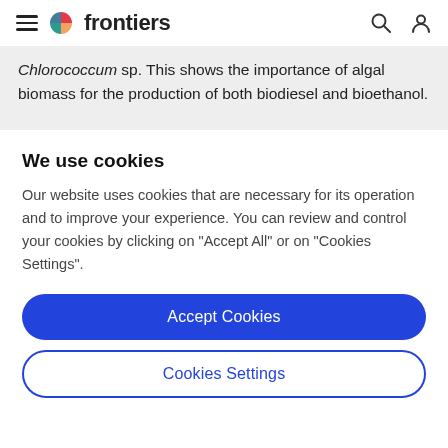frontiers
Chlorococcum sp. This shows the importance of algal biomass for the production of both biodiesel and bioethanol.
We use cookies
Our website uses cookies that are necessary for its operation and to improve your experience. You can review and control your cookies by clicking on "Accept All" or on "Cookies Settings".
Accept Cookies
Cookies Settings